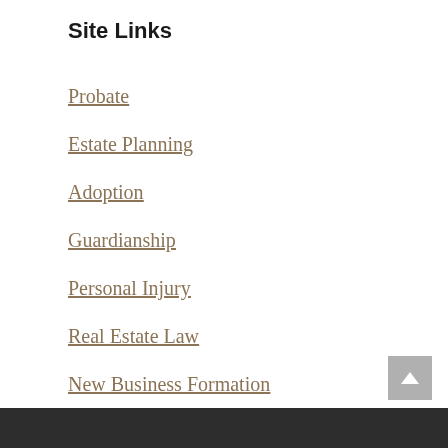Site Links
Probate
Estate Planning
Adoption
Guardianship
Personal Injury
Real Estate Law
New Business Formation
Family Law